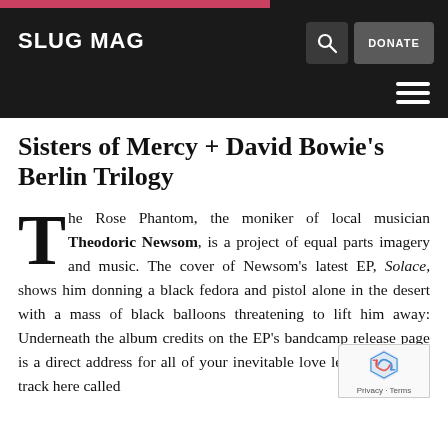SLUG MAG
Sisters of Mercy + David Bowie's Berlin Trilogy
The Rose Phantom, the moniker of local musician Theodoric Newsom, is a project of equal parts imagery and music. The cover of Newsom's latest EP, Solace, shows him donning a black fedora and pistol alone in the desert with a mass of black balloons threatening to lift him away: Underneath the album credits on the EP's bandcamp release page is a direct address for all of your inevita[ble] love letters; there's a track here called